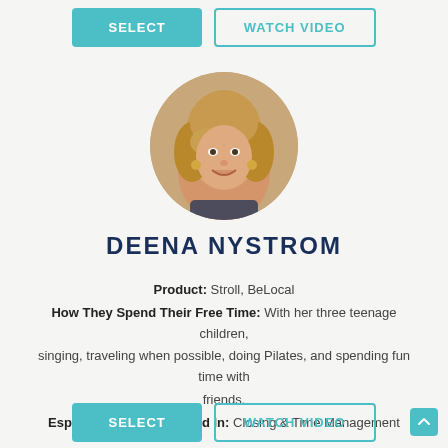[Figure (other): SELECT button (teal filled) and WATCH VIDEO button (teal outline) at top of page]
[Figure (photo): Circular headshot photo of Deena Nystrom, a woman with blonde hair and a warm smile]
DEENA NYSTROM
Product: Stroll, BeLocal
How They Spend Their Free Time: With her three teenage children, singing, traveling when possible, doing Pilates, and spending fun time with friends.
Especially Strong / Skilled In: Closing & Time Management
[Figure (other): SELECT button (teal filled) and WATCH VIDEO button (teal outline) at bottom of page]